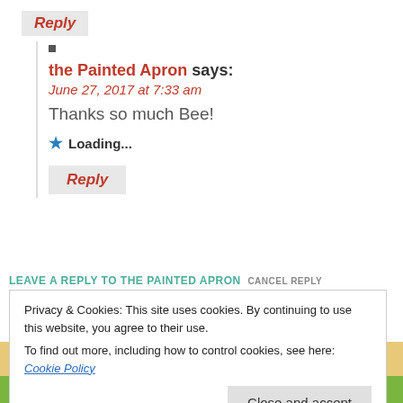Reply
the Painted Apron says: June 27, 2017 at 7:33 am
Thanks so much Bee!
Loading...
Reply
LEAVE A REPLY TO THE PAINTED APRON CANCEL REPLY
Privacy & Cookies: This site uses cookies. By continuing to use this website, you agree to their use. To find out more, including how to control cookies, see here: Cookie Policy
Close and accept
Spam Blocked
Social